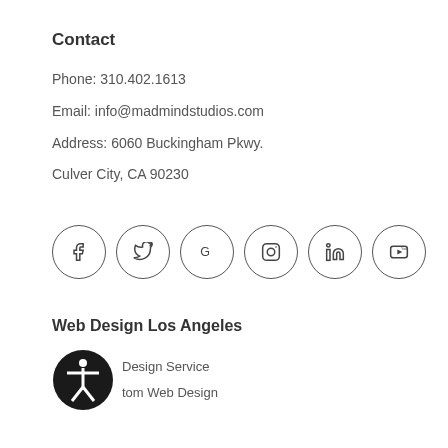Contact
Phone: 310.402.1613
Email: info@madmindstudios.com
Address: 6060 Buckingham Pkwy.
Culver City, CA 90230
[Figure (infographic): Row of 6 social media icon circles: Facebook (f), Twitter (bird), Google (G), Instagram (camera), LinkedIn (in), YouTube (play button)]
Web Design Los Angeles
Design Service
Custom Web Design